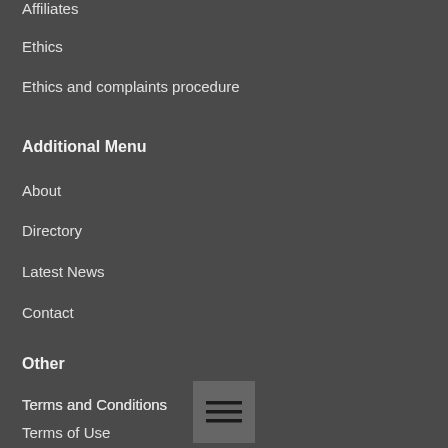Affiliates
Ethics
Ethics and complaints procedure
Additional Menu
About
Directory
Latest News
Contact
Other
Terms and Conditions
Terms of Use
[Figure (other): Hamburger menu icon button, dark gray square with three horizontal lines]